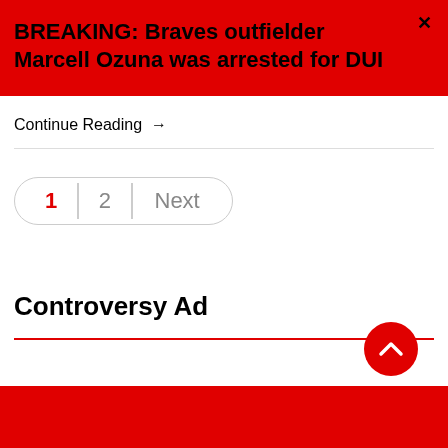BREAKING: Braves outfielder Marcell Ozuna was arrested for DUI
Continue Reading →
1  2  Next
Controversy Ad